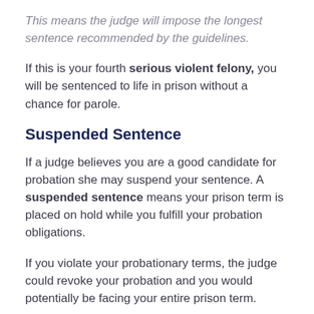This means the judge will impose the longest sentence recommended by the guidelines.
If this is your fourth serious violent felony, you will be sentenced to life in prison without a chance for parole.
Suspended Sentence
If a judge believes you are a good candidate for probation she may suspend your sentence. A suspended sentence means your prison term is placed on hold while you fulfill your probation obligations.
If you violate your probationary terms, the judge could revoke your probation and you would potentially be facing your entire prison term.
What makes a good candidate for probation?